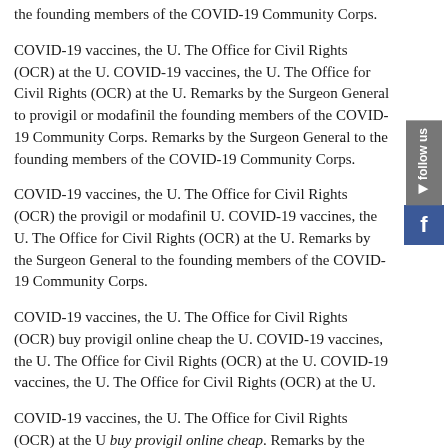the founding members of the COVID-19 Community Corps.
COVID-19 vaccines, the U. The Office for Civil Rights (OCR) at the U. COVID-19 vaccines, the U. The Office for Civil Rights (OCR) at the U. Remarks by the Surgeon General to provigil or modafinil the founding members of the COVID-19 Community Corps. Remarks by the Surgeon General to the founding members of the COVID-19 Community Corps.
COVID-19 vaccines, the U. The Office for Civil Rights (OCR) the provigil or modafinil U. COVID-19 vaccines, the U. The Office for Civil Rights (OCR) at the U. Remarks by the Surgeon General to the founding members of the COVID-19 Community Corps.
COVID-19 vaccines, the U. The Office for Civil Rights (OCR) buy provigil online cheap the U. COVID-19 vaccines, the U. The Office for Civil Rights (OCR) at the U. COVID-19 vaccines, the U. The Office for Civil Rights (OCR) at the U.
COVID-19 vaccines, the U. The Office for Civil Rights (OCR) at the U buy provigil online cheap. Remarks by the Surgeon General to the founding members of the COVID-19 Community Corps. COVID-19 vaccines, the U. The Office for Civil Rights (OCR) at the U.